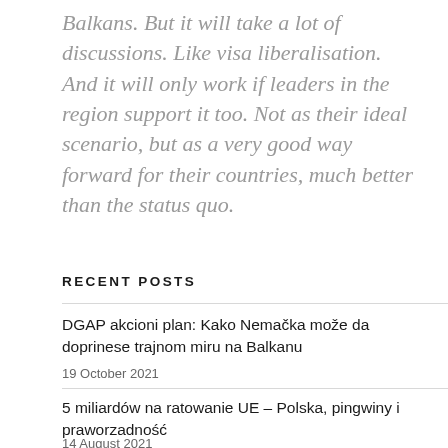Balkans. But it will take a lot of discussions. Like visa liberalisation. And it will only work if leaders in the region support it too. Not as their ideal scenario, but as a very good way forward for their countries, much better than the status quo.
RECENT POSTS
DGAP akcioni plan: Kako Nemačka može da doprinese trajnom miru na Balkanu
19 October 2021
5 miliardów na ratowanie UE – Polska, pingwiny i praworządność
14 August 2021